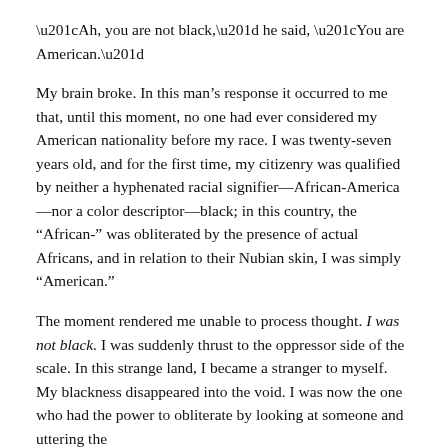“Ah, you are not black,” he said, “You are American.”
My brain broke. In this man’s response it occurred to me that, until this moment, no one had ever considered my American nationality before my race. I was twenty-seven years old, and for the first time, my citizenry was qualified by neither a hyphenated racial signifier—African-America—nor a color descriptor—black; in this country, the “African-” was obliterated by the presence of actual Africans, and in relation to their Nubian skin, I was simply “American.”
The moment rendered me unable to process thought. I was not black. I was suddenly thrust to the oppressor side of the scale. In this strange land, I became a stranger to myself. My blackness disappeared into the void. I was now the one who had the power to obliterate by looking at someone and uttering the